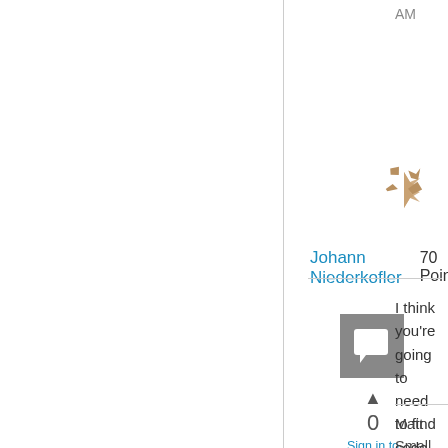AM
[Figure (logo): Decorative star/ninja-star logo icon in gold/tan color]
Johann Niederkofler   70 Points
[Figure (other): Square grey comment/answer icon box with white speech bubble symbol]
0
Sign in to vote
I think you’re going to need to find code that does an actual resize of the photo for display.
Matt Small - Microsoft Escalation Engineer - Forum Moderator